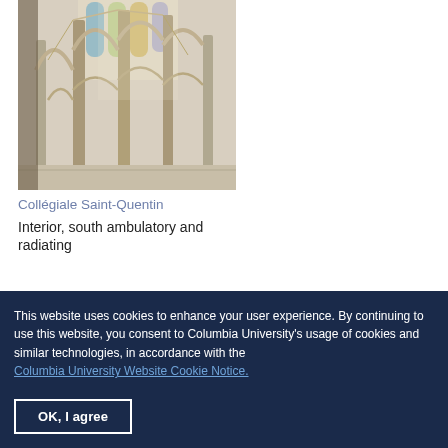[Figure (photo): Interior of Collégiale Saint-Quentin, showing Gothic arched columns, ambulatory and radiating chapels with stained glass windows in background.]
Collégiale Saint-Quentin Interior, south ambulatory and radiating
This website uses cookies to enhance your user experience. By continuing to use this website, you consent to Columbia University's usage of cookies and similar technologies, in accordance with the Columbia University Website Cookie Notice.
OK, I agree